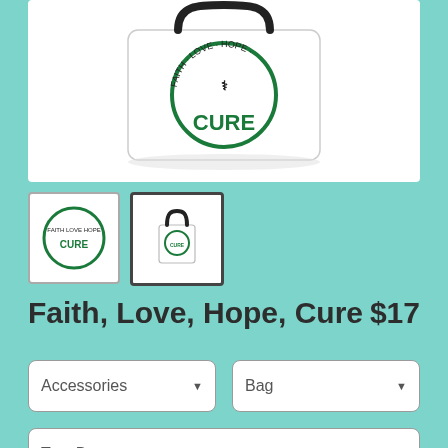[Figure (photo): White tote bag with Faith Love Hope Cure circular logo in green and black]
[Figure (photo): Thumbnail 1: circular logo design close-up]
[Figure (photo): Thumbnail 2: tote bag with black straps (selected)]
Faith, Love, Hope, Cure   $17
Accessories (dropdown)
Bag (dropdown)
Tote Bag (dropdown)
$17
13" x 13"
$20
16" x 16"
$21
18" x 18"